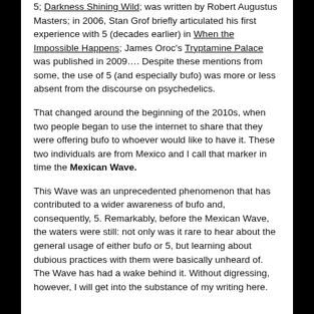5; Darkness Shining Wild; was written by Robert Augustus Masters; in 2006, Stan Grof briefly articulated his first experience with 5 (decades earlier) in When the Impossible Happens; James Oroc's Tryptamine Palace was published in 2009…. Despite these mentions from some, the use of 5 (and especially bufo) was more or less absent from the discourse on psychedelics.
That changed around the beginning of the 2010s, when two people began to use the internet to share that they were offering bufo to whoever would like to have it. These two individuals are from Mexico and I call that marker in time the Mexican Wave.
This Wave was an unprecedented phenomenon that has contributed to a wider awareness of bufo and, consequently, 5. Remarkably, before the Mexican Wave, the waters were still: not only was it rare to hear about the general usage of either bufo or 5, but learning about dubious practices with them were basically unheard of. The Wave has had a wake behind it. Without digressing, however, I will get into the substance of my writing here.
Spirit vs. Essence